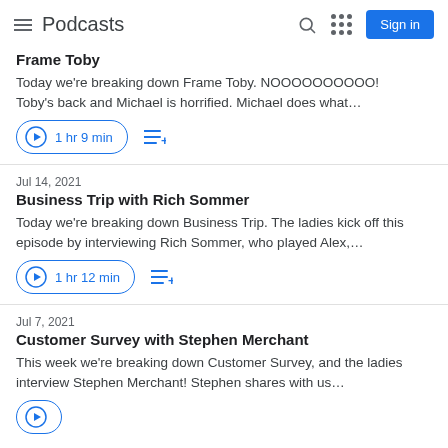Podcasts
Frame Toby
Today we're breaking down Frame Toby. NOOOOOOOOOO! Toby's back and Michael is horrified. Michael does what…
1 hr 9 min
Jul 14, 2021
Business Trip with Rich Sommer
Today we're breaking down Business Trip. The ladies kick off this episode by interviewing Rich Sommer, who played Alex,…
1 hr 12 min
Jul 7, 2021
Customer Survey with Stephen Merchant
This week we're breaking down Customer Survey, and the ladies interview Stephen Merchant! Stephen shares with us…